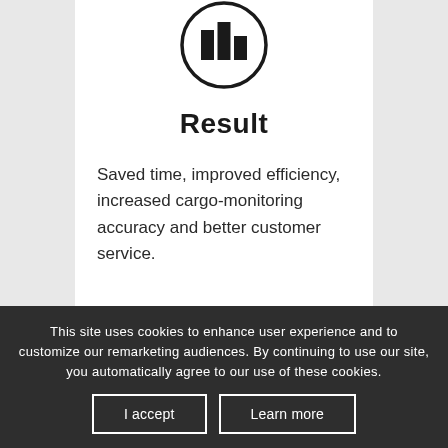[Figure (logo): Circular icon with bar chart / table grid symbol inside, black outline on white background]
Result
Saved time, improved efficiency, increased cargo-monitoring accuracy and better customer service.
This site uses cookies to enhance user experience and to customize our remarketing audiences. By continuing to use our site, you automatically agree to our use of these cookies.
I accept
Learn more